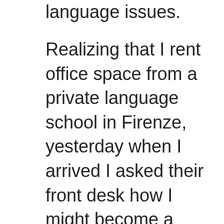language issues.
Realizing that I rent office space from a private language school in Firenze, yesterday when I arrived I asked their front desk how I might become a student. Iris and Lara were at the front. I have to say that, at this point, I know all the staff at the Sprachcaffè fairly well, and have puzzled out their names, relative job descriptions, and minor personal histories. They are all always very cordial with me.
A placement exam and rate sheet were whipped out from underneath the counter